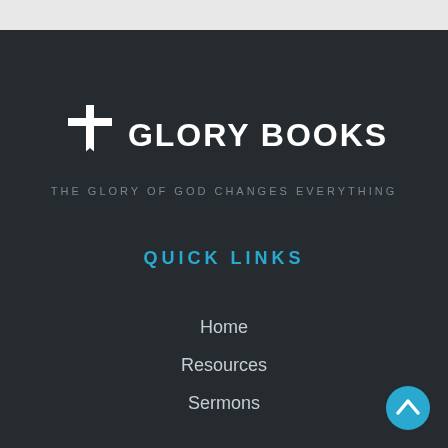[Figure (logo): Glory Books logo with cross icon and text 'GLORY BOOKS' in white bold font]
THE GLORY OF GOD CHANGES EVERYTHING
QUICK LINKS
Home
Resources
Sermons